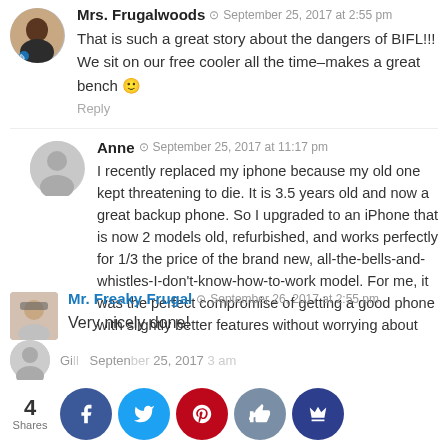Mrs. Frugalwoods · September 25, 2017 at 2:55 pm
That is such a great story about the dangers of BIFL!!! We sit on our free cooler all the time–makes a great bench 🙂
Reply
Anne · September 25, 2017 at 11:17 pm
I recently replaced my iphone because my old one kept threatening to die. It is 3.5 years old and now a great backup phone. So I upgraded to an iPhone that is now 2 models old, refurbished, and works perfectly for 1/3 the price of the brand new, all-the-bells-and-whistles-I-don't-know-how-to-work model. For me, it was the perfect compromise of getting a good phone with slightly better features without worrying about having the latest and greatest that will soon be outdated anyway.
Reply
Mr. Freaky Frugal · September 26, 2017 at 2:55 pm
Very nicely done!
Shares: 4